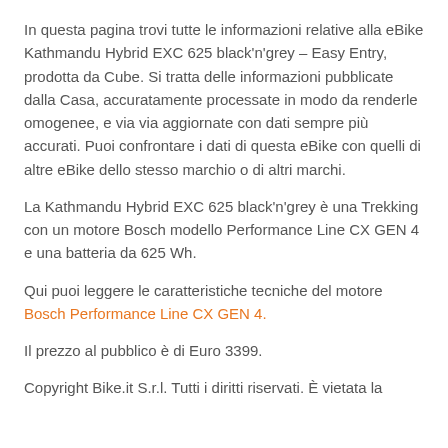In questa pagina trovi tutte le informazioni relative alla eBike Kathmandu Hybrid EXC 625 black'n'grey – Easy Entry, prodotta da Cube. Si tratta delle informazioni pubblicate dalla Casa, accuratamente processate in modo da renderle omogenee, e via via aggiornate con dati sempre più accurati. Puoi confrontare i dati di questa eBike con quelli di altre eBike dello stesso marchio o di altri marchi.
La Kathmandu Hybrid EXC 625 black'n'grey è una Trekking con un motore Bosch modello Performance Line CX GEN 4 e una batteria da 625 Wh.
Qui puoi leggere le caratteristiche tecniche del motore Bosch Performance Line CX GEN 4.
Il prezzo al pubblico è di Euro 3399.
Copyright Bike.it S.r.l. Tutti i diritti riservati. È vietata la